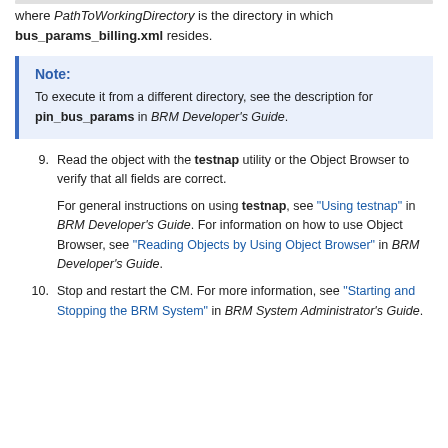where PathToWorkingDirectory is the directory in which bus_params_billing.xml resides.
Note: To execute it from a different directory, see the description for pin_bus_params in BRM Developer's Guide.
9. Read the object with the testnap utility or the Object Browser to verify that all fields are correct.

For general instructions on using testnap, see "Using testnap" in BRM Developer's Guide. For information on how to use Object Browser, see "Reading Objects by Using Object Browser" in BRM Developer's Guide.
10. Stop and restart the CM. For more information, see "Starting and Stopping the BRM System" in BRM System Administrator's Guide.